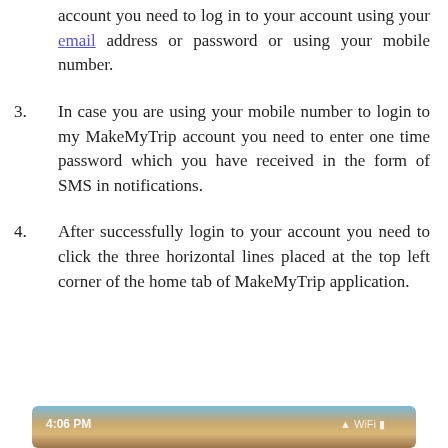account you need to log in to your account using your email address or password or using your mobile number.
3. In case you are using your mobile number to login to my MakeMyTrip account you need to enter one time password which you have received in the form of SMS in notifications.
4. After successfully login to your account you need to click the three horizontal lines placed at the top left corner of the home tab of MakeMyTrip application.
[Figure (screenshot): Bottom portion of a MakeMyTrip application screenshot showing a status bar with time (4:06 PM) and icons on a scenic background image.]